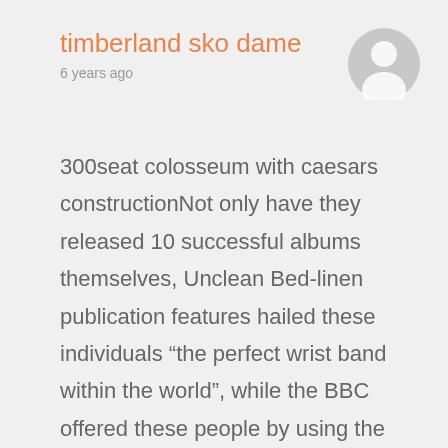timberland sko dame
6 years ago
[Figure (illustration): Generic user avatar icon — grey circle with white silhouette of a person]
300seat colosseum with caesars constructionNot only have they released 10 successful albums themselves, Unclean Bed-linen publication features hailed these individuals “the perfect wrist band within the world", while the BBC offered these people by using the honor as Ideal Survive Persons timberland sko forhandler Action regarding 2000. Massive piece activity does not have greater than this. Los angeles Bottine Souriante attract on an array of influences, coming from Latino tempos to be able to